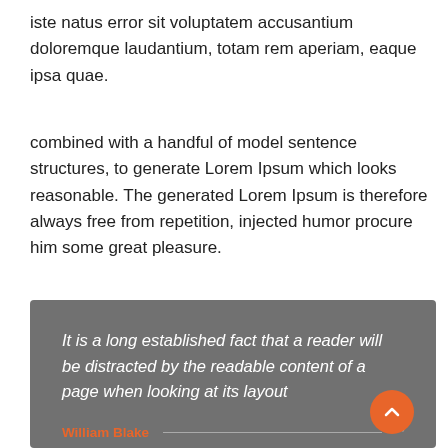iste natus error sit voluptatem accusantium doloremque laudantium, totam rem aperiam, eaque ipsa quae.
combined with a handful of model sentence structures, to generate Lorem Ipsum which looks reasonable. The generated Lorem Ipsum is therefore always free from repetition, injected humor procure him some great pleasure.
It is a long established fact that a reader will be distracted by the readable content of a page when looking at its layout — William Blake